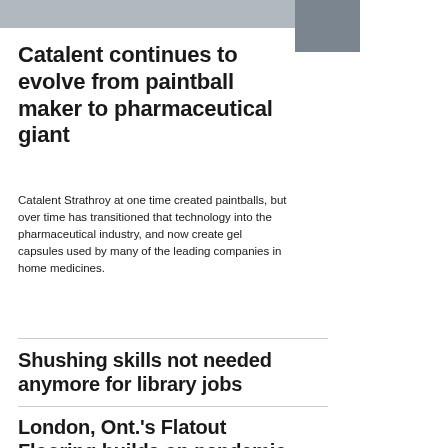[Figure (photo): Partial photo strip at top of page showing industrial or pharmaceutical equipment, cropped]
Catalent continues to evolve from paintball maker to pharmaceutical giant
Catalent Strathroy at one time created paintballs, but over time has transitioned that technology into the pharmaceutical industry, and now create gel capsules used by many of the leading companies in home medicines.
Shushing skills not needed anymore for library jobs
London, Ont.'s Flatout Flooring builds on pandemic reno boost